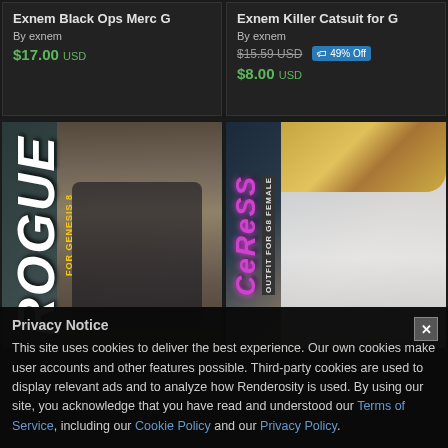Exnem Black Ops Merc G
By exnem
$17.00 USD
Exnem Killer Catsuit for G
By exnem
$15.59 USD  49% Off  $8.00 USD
[Figure (illustration): 3D rendered image of a female character wearing a black tactical outfit labeled ROGUE FOR GENESIS 8]
[Figure (illustration): 3D rendered image of a white mannequin wearing a gold and white fantasy armor labeled CERESS OUTFIT FOR G8 FEMALE]
Privacy Notice
This site uses cookies to deliver the best experience. Our own cookies make user accounts and other features possible. Third-party cookies are used to display relevant ads and to analyze how Renderosity is used. By using our site, you acknowledge that you have read and understood our Terms of Service, including our Cookie Policy and our Privacy Policy.